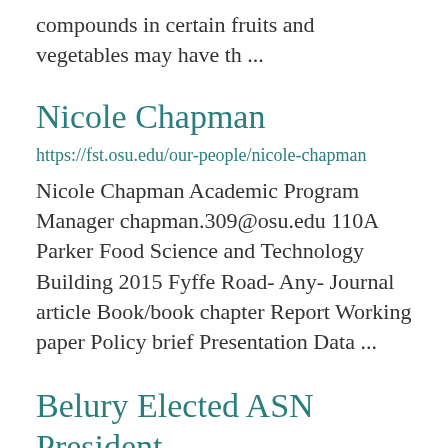compounds in certain fruits and vegetables may have th ...
Nicole Chapman
https://fst.osu.edu/our-people/nicole-chapman
Nicole Chapman Academic Program Manager chapman.309@osu.edu 110A Parker Food Science and Technology Building 2015 Fyffe Road- Any- Journal article Book/book chapter Report Working paper Policy brief Presentation Data ...
Belury Elected ASN President
https://fst.osu.edu/news/belury-elected-asn-president
Dr. Martha Belury is currently serving a ...